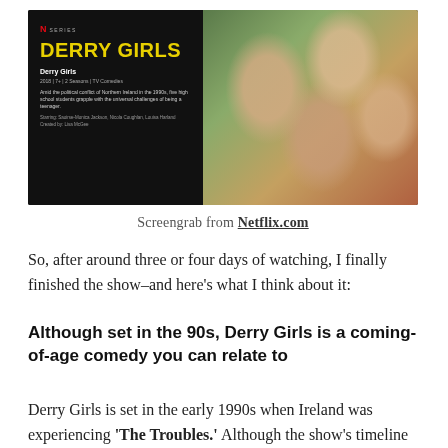[Figure (screenshot): Netflix.com screengrab showing the Derry Girls series page with title in yellow, show info on dark left panel, and cast photo on right showing four young women looking down at camera with outdoor background]
Screengrab from Netflix.com
So, after around three or four days of watching, I finally finished the show–and here's what I think about it:
Although set in the 90s, Derry Girls is a coming-of-age comedy you can relate to
Derry Girls is set in the early 1990s when Ireland was experiencing 'The Troubles.' Although the show's timeline